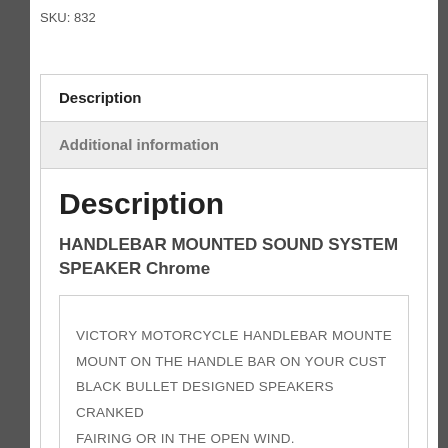SKU: 832
Description
Additional information
Description
HANDLEBAR MOUNTED SOUND SYSTEM SPEAKER Chrome
VICTORY MOTORCYCLE HANDLEBAR MOUNTED MOUNT ON THE HANDLE BAR ON YOUR CUSTOM BLACK BULLET DESIGNED SPEAKERS CRANKED FAIRING OR IN THE OPEN WIND.